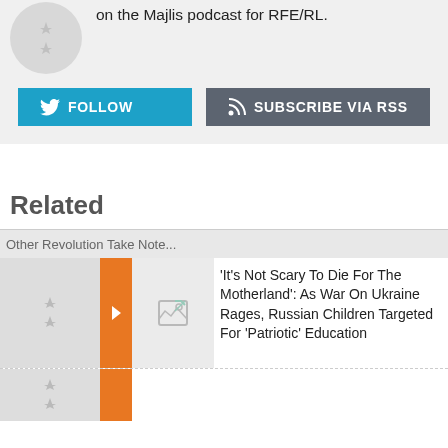on the Majlis podcast for RFE/RL.
FOLLOW
SUBSCRIBE VIA RSS
Related
'It's Not Scary To Die For The Motherland': As War On Ukraine Rages, Russian Children Targeted For 'Patriotic' Education